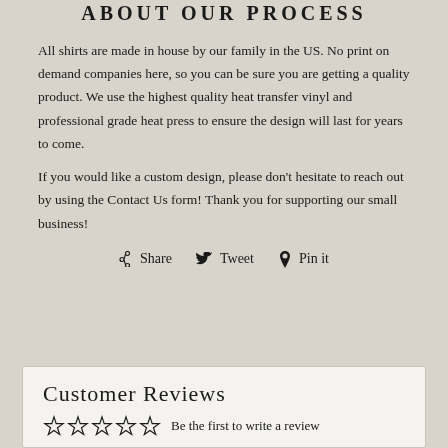ABOUT OUR PROCESS
All shirts are made in house by our family in the US. No print on demand companies here, so you can be sure you are getting a quality product. We use the highest quality heat transfer vinyl and professional grade heat press to ensure the design will last for years to come.
If you would like a custom design, please don't hesitate to reach out by using the Contact Us form! Thank you for supporting our small business!
Share  Tweet  Pin it
Customer Reviews
Be the first to write a review